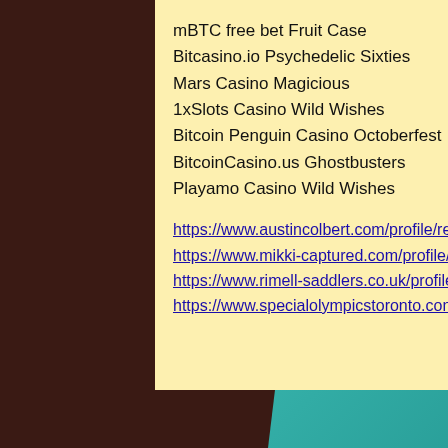mBTC free bet Fruit Case
Bitcasino.io Psychedelic Sixties
Mars Casino Magicious
1xSlots Casino Wild Wishes
Bitcoin Penguin Casino Octoberfest
BitcoinCasino.us Ghostbusters
Playamo Casino Wild Wishes
https://www.austincolbert.com/profile/reinaldohinchcliff14848369/profile
https://www.mikki-captured.com/profile/alexandriamellado14881091/profile
https://www.rimell-saddlers.co.uk/profile/torriescatenato9471300/profile
https://www.specialolympicstoronto.com/profile/vergieaguilar6817955/profile